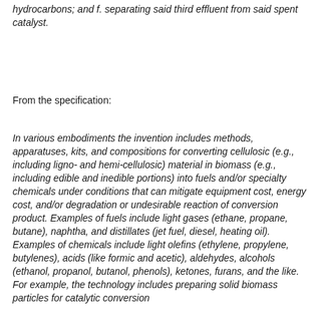hydrocarbons; and f. separating said third effluent from said spent catalyst.
From the specification:
In various embodiments the invention includes methods, apparatuses, kits, and compositions for converting cellulosic (e.g., including ligno- and hemi-cellulosic) material in biomass (e.g., including edible and inedible portions) into fuels and/or specialty chemicals under conditions that can mitigate equipment cost, energy cost, and/or degradation or undesirable reaction of conversion product. Examples of fuels include light gases (ethane, propane, butane), naphtha, and distillates (jet fuel, diesel, heating oil). Examples of chemicals include light olefins (ethylene, propylene, butylenes), acids (like formic and acetic), aldehydes, alcohols (ethanol, propanol, butanol, phenols), ketones, furans, and the like. For example, the technology includes preparing solid biomass particles for catalytic conversion